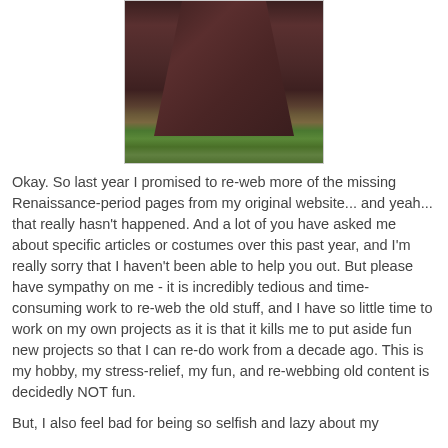[Figure (photo): Photo of lower half of a person wearing a dark brown/maroon Renaissance-period long skirt or dress, standing on green grass outdoors.]
Okay.  So last year I promised to re-web more of the missing Renaissance-period pages from my original website... and yeah... that really hasn't happened.  And a lot of you have asked me about specific articles or costumes over this past year, and I'm really sorry that I haven't been able to help you out.  But please have sympathy on me - it is incredibly tedious and time-consuming work to re-web the old stuff, and I have so little time to work on my own projects as it is that it kills me to put aside fun new projects so that I can re-do work from a decade ago.  This is my hobby, my stress-relief, my fun, and re-webbing old content is decidedly NOT fun.
But, I also feel bad for being so selfish and lazy about my